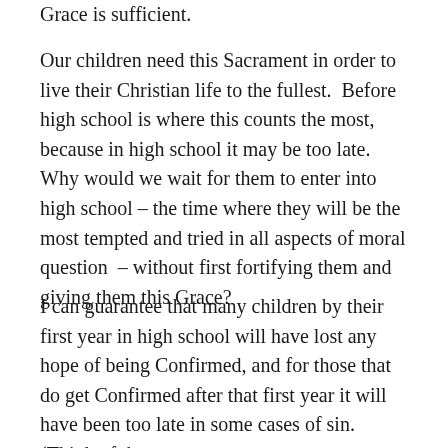Grace is sufficient.
Our children need this Sacrament in order to live their Christian life to the fullest.  Before high school is where this counts the most, because in high school it may be too late.  Why would we wait for them to enter into high school – the time where they will be the most tempted and tried in all aspects of moral question  – without first fortifying them and giving them this Grace?
I can guarantee that many children by their first year in high school will have lost any hope of being Confirmed, and for those that do get Confirmed after that first year it will have been too late in some cases of sin.  (Think of these